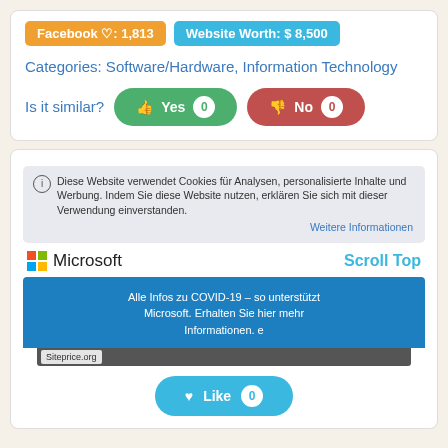Facebook ♡: 1,813
Website Worth: $ 8,500
Categories: Software/Hardware, Information Technology
Is it similar?
Yes 0
No 0
[Figure (screenshot): Screenshot of Microsoft website with cookie consent notice in German, COVID-19 banner, Scroll Top link, and Like button]
Siteprice.org
Like 0